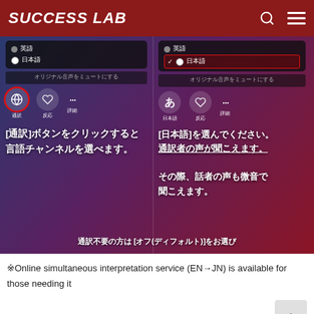SUCCESS LAB
[Figure (screenshot): Screenshot of Zoom interpretation feature showing two panels: left panel with globe/translation button highlighted in red circle and Japanese text explaining how to click the translation button to select a language channel; right panel showing Japanese language selected (highlighted in red border) and text explaining to select Japanese to hear the interpreter's voice, with note that the speaker's voice will also be faintly audible. Bottom text: 通訳不要の方は[オフ(ディフォルト)]をお選び]
※Online simultaneous interpretation service (EN→JN) is available for those needing it